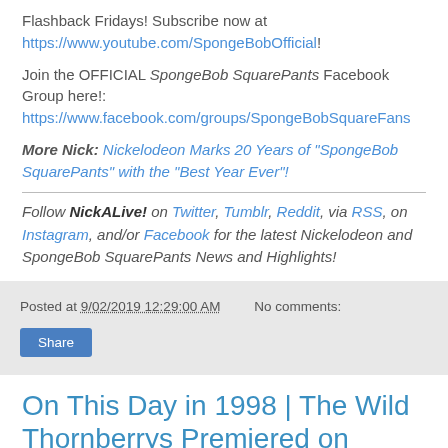Flashback Fridays! Subscribe now at https://www.youtube.com/SpongeBobOfficial!
Join the OFFICIAL SpongeBob SquarePants Facebook Group here!: https://www.facwww.facebook.com/groups/SpongeBobSquareFans
More Nick: Nickelodeon Marks 20 Years of "SpongeBob SquarePants" with the "Best Year Ever"!
Follow NickALive! on Twitter, Tumblr, Reddit, via RSS, on Instagram, and/or Facebook for the latest Nickelodeon and SpongeBob SquarePants News and Highlights!
Posted at 9/02/2019 12:29:00 AM   No comments:
Share
On This Day in 1998 | The Wild Thornberrys Premiered on Nickelodeon